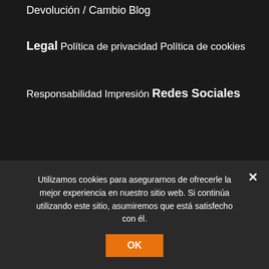Devolución / Cambio
Blog
Legal
Política de privacidad
Política de cookies
Responsabilidad
Impresión
Redes Sociales
Utilizamos cookies para asegurarnos de ofrecerle la mejor experiencia en nuestro sitio web. Si continúa utilizando este sitio, asumiremos que está satisfecho con él.
OK